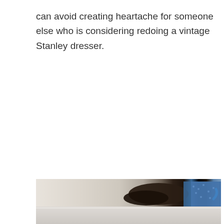can avoid creating heartache for someone else who is considering redoing a vintage Stanley dresser.
[Figure (photo): Close-up photo of what appears to be a piece of furniture (dresser surface) with a dark brown fabric/object and blue patterned fabric visible, showing the top and front edge of a white dresser.]